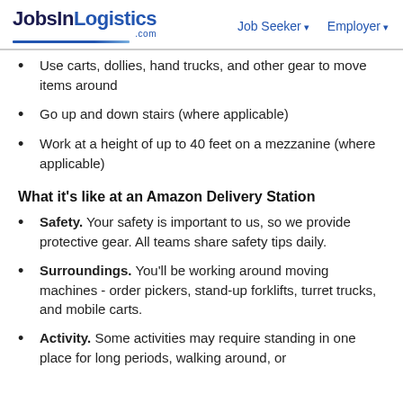JobsInLogistics.com | Job Seeker | Employer
Use carts, dollies, hand trucks, and other gear to move items around
Go up and down stairs (where applicable)
Work at a height of up to 40 feet on a mezzanine (where applicable)
What it's like at an Amazon Delivery Station
Safety. Your safety is important to us, so we provide protective gear. All teams share safety tips daily.
Surroundings. You'll be working around moving machines - order pickers, stand-up forklifts, turret trucks, and mobile carts.
Activity. Some activities may require standing in one place for long periods, walking around, or